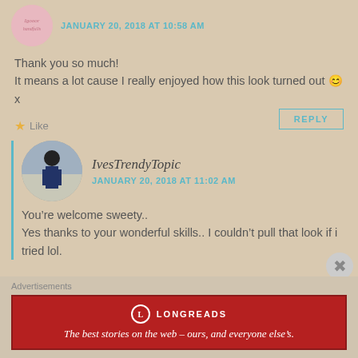JANUARY 20, 2018 AT 10:58 AM
Thank you so much!
It means a lot cause I really enjoyed how this look turned out 😊 x
Like
REPLY
[Figure (photo): Circular avatar photo of IvesTrendyTopic blogger standing outdoors]
IvesTrendyTopic
JANUARY 20, 2018 AT 11:02 AM
You're welcome sweety..
Yes thanks to your wonderful skills.. I couldn't pull that look if i tried lol.
Advertisements
[Figure (infographic): Longreads advertisement banner - red background with white text: The best stories on the web – ours, and everyone else's.]